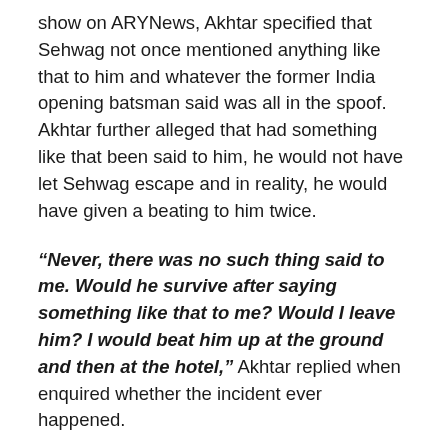show on ARYNews, Akhtar specified that Sehwag not once mentioned anything like that to him and whatever the former India opening batsman said was all in the spoof. Akhtar further alleged that had something like that been said to him, he would not have let Sehwag escape and in reality, he would have given a beating to him twice.
“Never, there was no such thing said to me. Would he survive after saying something like that to me? Would I leave him? I would beat him up at the ground and then at the hotel,” Akhtar replied when enquired whether the incident ever happened.
It is tough to reason with Akhtar and his words cannot be denied by any means. The one-time Sehwag was batting close to 200 was during the India-Pakistan Test in Multan, in which Tendulkar scored an unbeaten 195 but his score did